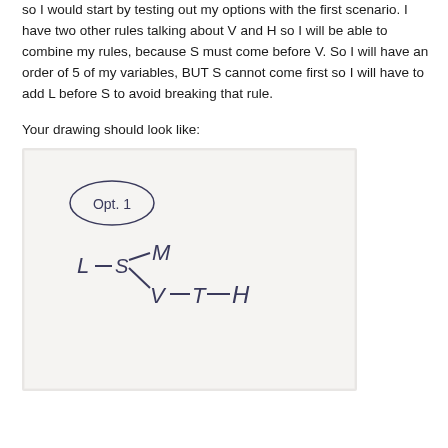so I would start by testing out my options with the first scenario. I have two other rules talking about V and H so I will be able to combine my rules, because S must come before V. So I will have an order of 5 of my variables, BUT S cannot come first so I will have to add L before S to avoid breaking that rule.
Your drawing should look like:
[Figure (photo): A hand-drawn diagram on white/light gray paper. In the upper left, 'Opt. 1' is written inside an oval. Below, a branching diagram shows: L - S - M on the upper branch, and V - T - H on the lower branch, with S connecting to both M and V.]